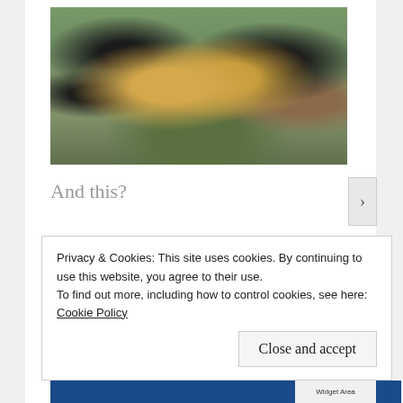[Figure (photo): Outdoor photo of multiple chicks and chickens of various colors (black, tan/buff, mixed) on bare dirt and grass ground]
And this?
[Figure (photo): Partial photo showing what appears to be a yellow/gold object with numbers and a red background]
Privacy & Cookies: This site uses cookies. By continuing to use this website, you agree to their use.
To find out more, including how to control cookies, see here: Cookie Policy
Close and accept